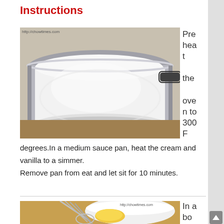Instructions
[Figure (photo): A medium sauce pan with cream/milk heated on a stove, viewed from above. Photo watermarked with http://chowtimes.com]
Preheat the oven to 300 F degrees.In a medium sauce pan, heat the cream and vanilla to a simmer.
Remove pan from eat and let sit for 10 minutes.
[Figure (photo): A bowl with egg yolks and a whisk, used for making custard. Photo watermarked with http://chowtimes.com]
In a bowl, whi